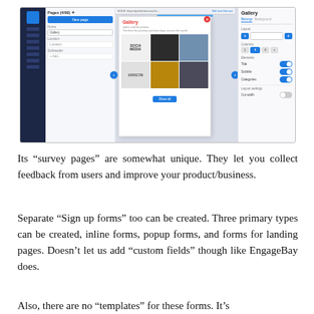[Figure (screenshot): Screenshot of a website builder interface showing a gallery page editor. Left panel shows Pages list with navigation, center shows a gallery widget with social media and marketing images in a grid layout, right panel shows gallery settings including Layout, Columns, Elements toggles for Title, Gallery, and Categories.]
Its “survey pages” are somewhat unique. They let you collect feedback from users and improve your product/business.
Separate “Sign up forms” too can be created. Three primary types can be created, inline forms, popup forms, and forms for landing pages. Doesn’t let us add “custom fields” though like EngageBay does.
Also, there are no “templates” for these forms. It’s